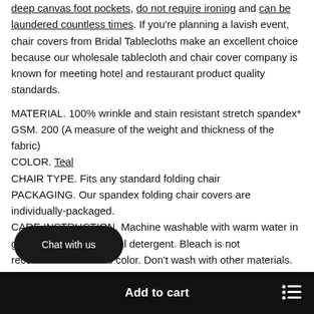deep canvas foot pockets, do not require ironing and can be laundered countless times. If you're planning a lavish event, chair covers from Bridal Tablecloths make an excellent choice because our wholesale tablecloth and chair cover company is known for meeting hotel and restaurant product quality standards.
MATERIAL. 100% wrinkle and stain resistant stretch spandex*
GSM. 200 (A measure of the weight and thickness of the fabric)
COLOR. Teal
CHAIR TYPE. Fits any standard folding chair
PACKAGING. Our spandex folding chair covers are individually-packaged.
CARE INSTRUCTION. Machine washable with warm water in gentle cycle. Use normal detergent. Bleach is not recommended for this color. Don't wash with other materials. Wash like colors together. Tumble dry with low temperature. Avoid overloading and make sure washer and dryer are in working order. Gradually dry in dryer to avoid